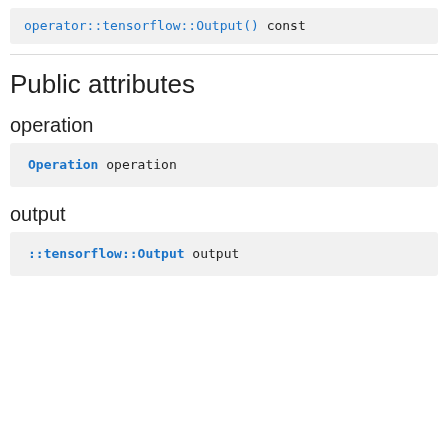operator::tensorflow::Output() const
Public attributes
operation
Operation operation
output
::tensorflow::Output output